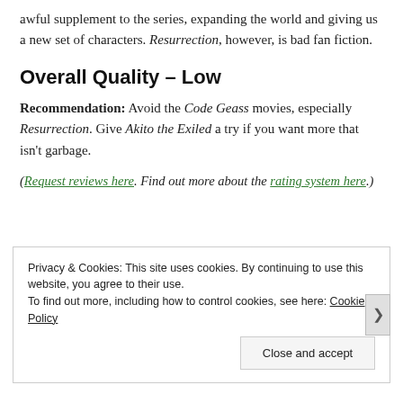awful supplement to the series, expanding the world and giving us a new set of characters. Resurrection, however, is bad fan fiction.
Overall Quality – Low
Recommendation: Avoid the Code Geass movies, especially Resurrection. Give Akito the Exiled a try if you want more that isn't garbage.
(Request reviews here. Find out more about the rating system here.)
Privacy & Cookies: This site uses cookies. By continuing to use this website, you agree to their use. To find out more, including how to control cookies, see here: Cookie Policy Close and accept